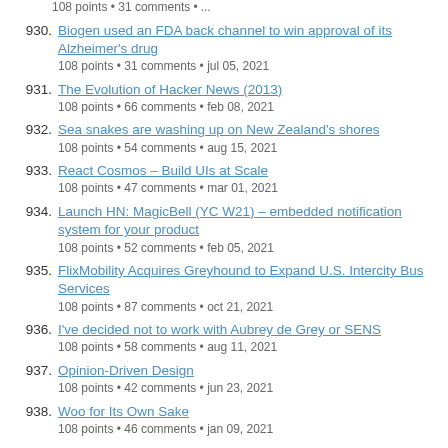930. Biogen used an FDA back channel to win approval of its Alzheimer's drug
108 points • 31 comments • jul 05, 2021
931. The Evolution of Hacker News (2013)
108 points • 66 comments • feb 08, 2021
932. Sea snakes are washing up on New Zealand's shores
108 points • 54 comments • aug 15, 2021
933. React Cosmos – Build UIs at Scale
108 points • 47 comments • mar 01, 2021
934. Launch HN: MagicBell (YC W21) – embedded notification system for your product
108 points • 52 comments • feb 05, 2021
935. FlixMobility Acquires Greyhound to Expand U.S. Intercity Bus Services
108 points • 87 comments • oct 21, 2021
936. I've decided not to work with Aubrey de Grey or SENS
108 points • 58 comments • aug 11, 2021
937. Opinion-Driven Design
108 points • 42 comments • jun 23, 2021
938. Woo for Its Own Sake
108 points • 46 comments • jan 09, 2021